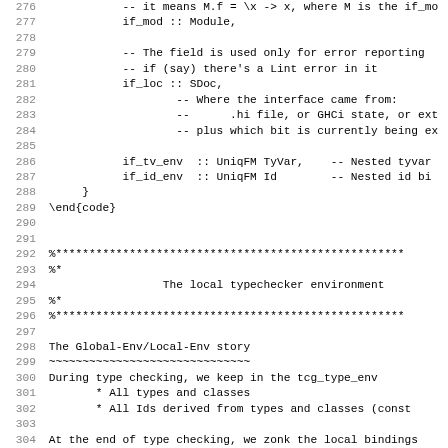Code block showing Haskell source lines 276-307 with comments and type declarations related to interface file environment and local typechecker environment.